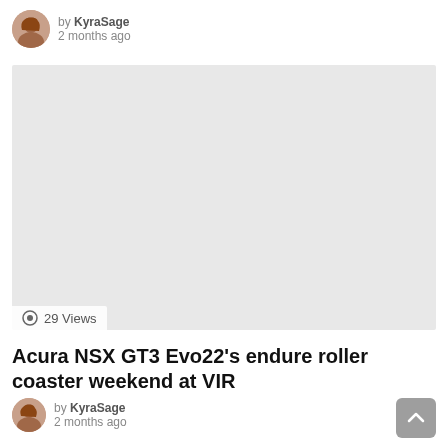by KyraSage 2 months ago
[Figure (photo): A light gray placeholder image/video thumbnail with 29 Views label at bottom left]
Acura NSX GT3 Evo22’s endure roller coaster weekend at VIR
by KyraSage 2 months ago